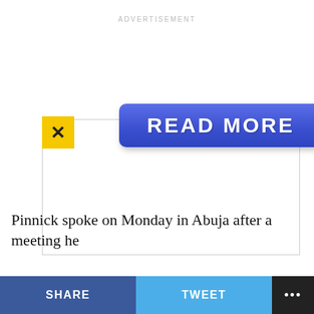ADVERTISEMENT
[Figure (screenshot): Advertisement box with a blue 'READ MORE' button and a yellow X close button. Text 'on Newz Online' appears inside the ad box.]
Pinnick spoke on Monday in Abuja after a meeting he
SHARE   TWEET   ...